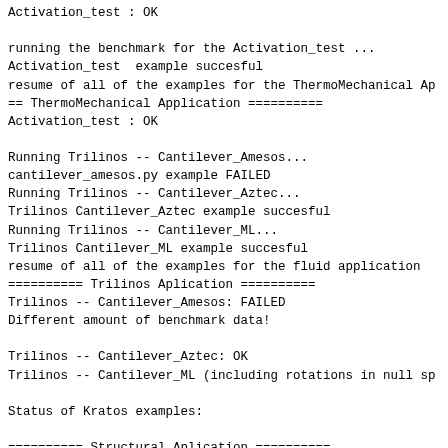Activation_test : OK

running the benchmark for the Activation_test ...
Activation_test  example succesful
resume of all of the examples for the ThermoMechanical Ap
== ThermoMechanical Application ==========
Activation_test : OK

Running Trilinos -- Cantilever_Amesos...
cantilever_amesos.py example FAILED
Running Trilinos -- Cantilever_Aztec...
Trilinos Cantilever_Aztec example succesful
Running Trilinos -- Cantilever_ML...
Trilinos Cantilever_ML example succesful
resume of all of the examples for the fluid application
========== Trilinos Aplication ==========
Trilinos -- Cantilever_Amesos: FAILED
Different amount of benchmark data!

Trilinos -- Cantilever_Aztec: OK
Trilinos -- Cantilever_ML (including rotations in null sp

Status of Kratos examples:

========== Structural Aplication ==========
Patch_Test_Total_Lagrangian_3D_8N: OK
Patch_Test_Total_Lagrangian_4N: OK
cantilever2dDynamic:OK
cantilever2dstatic using MKLPardisoSolver: FAILED
Different amount of benchmark data!